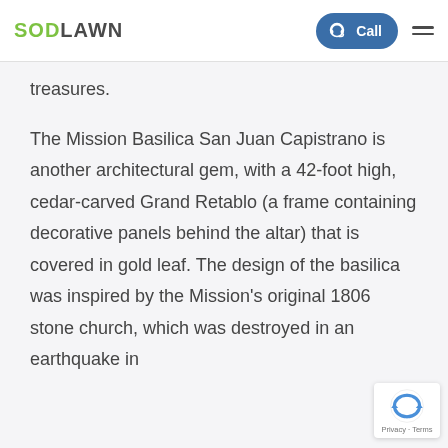SODLAWN — Call (navigation header)
treasures.
The Mission Basilica San Juan Capistrano is another architectural gem, with a 42-foot high, cedar-carved Grand Retablo (a frame containing decorative panels behind the altar) that is covered in gold leaf. The design of the basilica was inspired by the Mission's original 1806 stone church, which was destroyed in an earthquake in